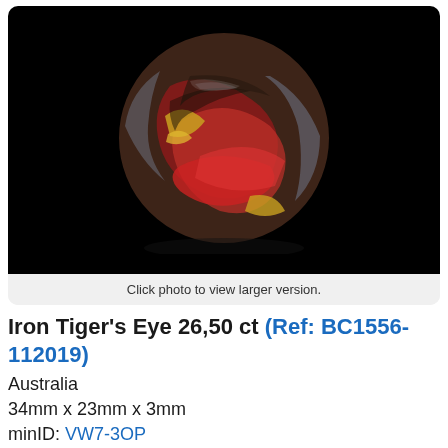[Figure (photo): Close-up photo of an Iron Tiger's Eye cabochon gemstone with dark background. The stone shows red, brown, yellow, and grey swirling patterns on a round/oval polished surface.]
Click photo to view larger version.
Iron Tiger's Eye 26,50 ct (Ref: BC1556-112019)
Australia
34mm x 23mm x 3mm
minID: VW7-3OP
$19 *
Excellent iron tiger's eye pear cabochon from B. Chatenet's ex-